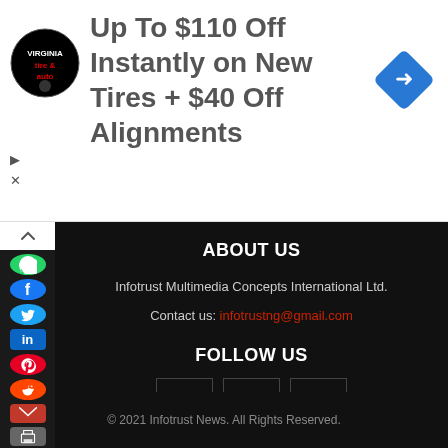[Figure (infographic): Advertisement banner: Virginia Tire & Auto logo, large text 'Up To $110 Off Instantly on New Tires + $40 Off Alignments', blue diamond navigation arrow icon on right]
[Figure (infographic): Left sidebar with social sharing icons: WhatsApp (green), Facebook (blue), Twitter (blue), LinkedIn (blue), Pinterest (red), Reddit (orange), Email (dark red), Print (grey). Collapse toggle at top.]
ABOUT US
Infotrust Multimedia Concepts International Ltd.
Contact us: infotrustng@gmail.com
FOLLOW US
[Figure (infographic): Three social media icon boxes: Facebook (f), LinkedIn (in), Twitter (bird icon)]
© 2021 Infotrust News. All Rights Reserved.